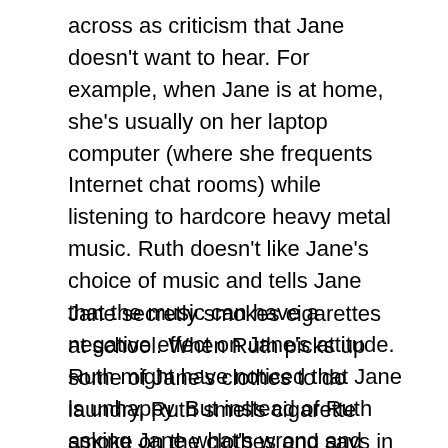across as criticism that Jane doesn't want to hear. For example, when Jane is at home, she's usually on her laptop computer (where she frequents Internet chat rooms) while listening to hardcore heavy metal music. Ruth doesn't like Jane's choice of music and tells Jane that the music can have a negative effect on Jane's attitude. Ruth might have noticed that Jane is unhappy. But instead of Ruth asking Jane what's wrong and asking how she can help as a parent, Ruth chooses to complain about Jane's taste in music.
Jane secretly smokes cigarettes at school. When Ruth picks up some of Jane's clothes to do laundry, Ruth smells cigarette smoke on the clothes and says in a condescending voice, “Please don’t smoke,” and starts to lecture Jane about how smoking is unattractive and bad for her health. Jane denies that she smokes cigarettes and says the cigarette odor is from being